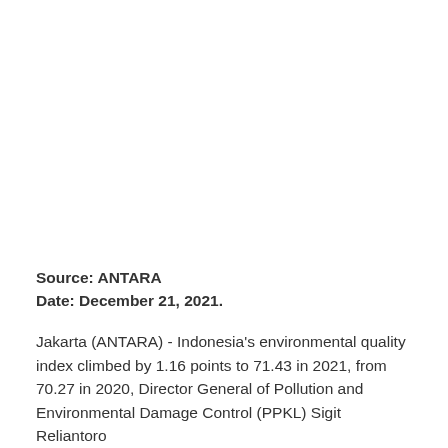Source: ANTARA
Date: December 21, 2021.
Jakarta (ANTARA) - Indonesia's environmental quality index climbed by 1.16 points to 71.43 in 2021, from 70.27 in 2020, Director General of Pollution and Environmental Damage Control (PPKL) Sigit Reliantoro